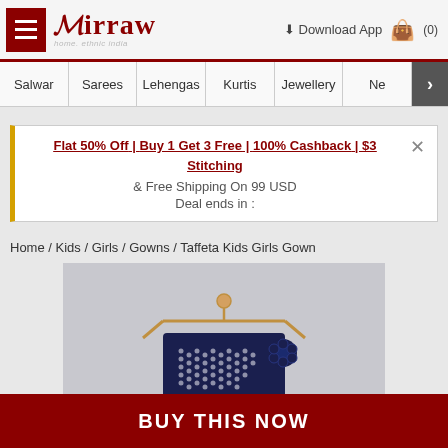MIRRAW - Home, ethnic India | Download App | Cart (0)
Salwar | Sarees | Lehengas | Kurtis | Jewellery | Ne >
Flat 50% Off | Buy 1 Get 3 Free | 100% Cashback | $3 Stitching & Free Shipping On 99 USD
Deal ends in :
Home / Kids / Girls / Gowns / Taffeta Kids Girls Gown
[Figure (photo): A navy blue kids girls gown with sequin embroidery displayed on a hanger against a light background]
BUY THIS NOW